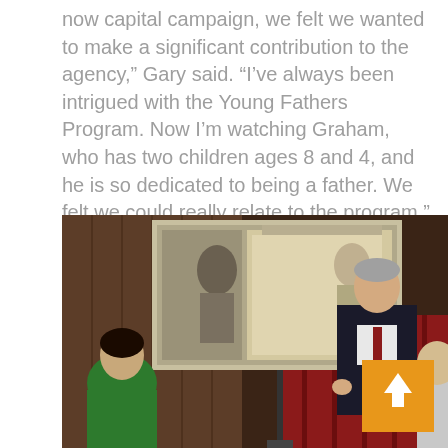now capital campaign, we felt we wanted to make a significant contribution to the agency,” Gary said. “I’ve always been intrigued with the Young Fathers Program. Now I’m watching Graham, who has two children ages 8 and 4, and he is so dedicated to being a father. We felt we could really relate to the program.”
[Figure (photo): A man in a dark suit and red tie stands speaking near a projector screen showing a video image. A woman in a green jacket is seated in the foreground on the left. Another person is partially visible on the right. There is a red curtain in the background. An orange scroll-up button with a white arrow is overlaid in the lower right of the image.]